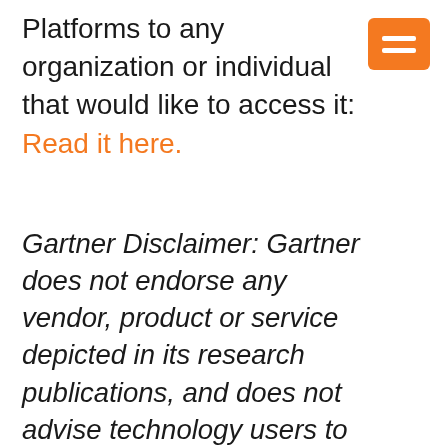Platforms to any organization or individual that would like to access it: Read it here.
Gartner Disclaimer: Gartner does not endorse any vendor, product or service depicted in its research publications, and does not advise technology users to select only those vendors with the highest ratings or other designation. Gartner